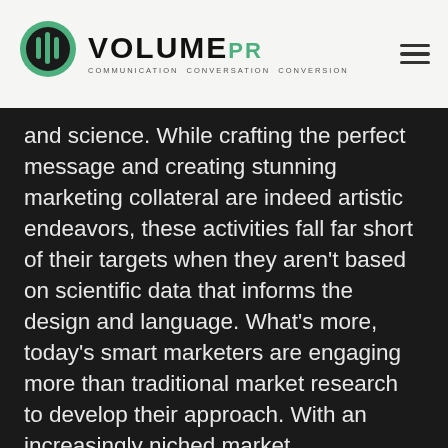VOLUME PR — COMMUNICATION CONVERSATION CONVERSION
and science. While crafting the perfect message and creating stunning marketing collateral are indeed artistic endeavors, these activities fall far short of their targets when they aren't based on scientific data that informs the design and language. What's more, today's smart marketers are engaging more than traditional market research to develop their approach. With an increasingly niched market segmentation,